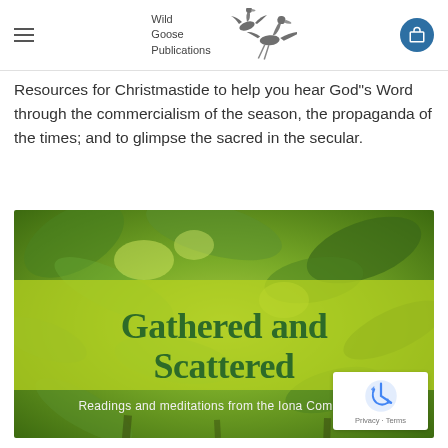Wild Goose Publications
Resources for Christmastide to help you hear God"s Word through the commercialism of the season, the propaganda of the times; and to glimpse the sacred in the secular.
[Figure (photo): Book cover of 'Gathered and Scattered: Readings and meditations from the Iona Community' showing green leaves background with yellow-green overlay and title text in green serif font]